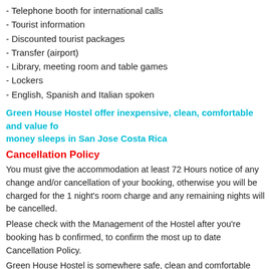- Telephone booth for international calls
- Tourist information
- Discounted tourist packages
- Transfer (airport)
- Library, meeting room and table games
- Lockers
- English, Spanish and Italian spoken
Green House Hostel offer inexpensive, clean, comfortable and value for money sleeps in San Jose Costa Rica
Cancellation Policy
You must give the accommodation at least 72 Hours notice of any change and/or cancellation of your booking, otherwise you will be charged for the 1 night's room charge and any remaining nights will be cancelled.
Please check with the Management of the Hostel after you're booking has been confirmed, to confirm the most up to date Cancellation Policy.
Green House Hostel is somewhere safe, clean and comfortable place to stay in San Jose Costa Rica offering affordable accommodation to travellers all year round and also for weekend breaks
Hotels in San Jose Costa Rica
Group accommodation San Jose
Cheap Hotels online
Budget accommodation
Green House Hostel an affordable and clean Place to Stay in San Jose Costa Rica
Back to san jose Hostels